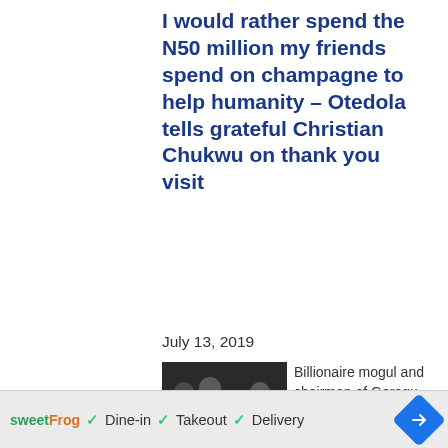I would rather spend the N50 million my friends spend on champagne to help humanity – Otedola tells grateful Christian Chukwu on thank you visit
July 13, 2019
[Figure (photo): Group photo showing several people including two men and a woman, one wearing a teal/green shirt]
Billionaire mogul and chairman of Geregu Power Plant Femi Otedola revealed that he's happy...
sweetFrog  ✓ Dine-in  ✓ Takeout  ✓ Delivery